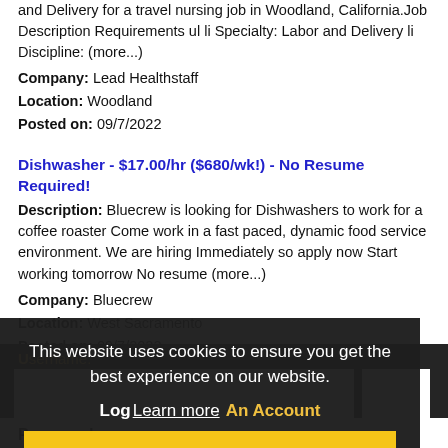and Delivery for a travel nursing job in Woodland, California.Job Description Requirements ul li Specialty: Labor and Delivery li Discipline: (more...)
Company: Lead Healthstaff
Location: Woodland
Posted on: 09/7/2022
Dishwasher - $17.00/hr ($680/wk!) - No Resume Required!
Description: Bluecrew is looking for Dishwashers to work for a coffee roaster Come work in a fast paced, dynamic food service environment. We are hiring Immediately so apply now Start working tomorrow No resume (more...)
Company: Bluecrew
Location: West Sacramento
Posted on: 09/7/2022
Loading more jobs...
This website uses cookies to ensure you get the best experience on our website.
Learn more
Log In Or Create An Account
Got it!
Username:
Password: